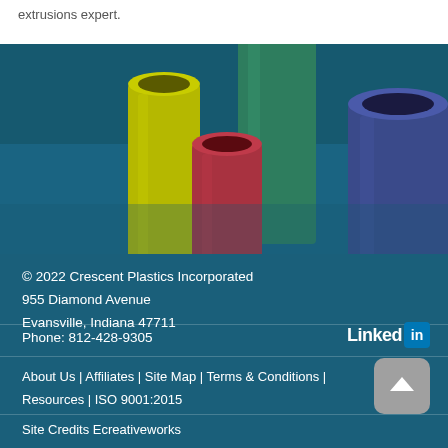extrusions expert.
[Figure (photo): Four colorful plastic cylindrical pipe extrusions (green, yellow, red, blue) standing upright on a dark teal background]
© 2022 Crescent Plastics Incorporated
955 Diamond Avenue
Evansville, Indiana 47711
Phone: 812-428-9305
[Figure (logo): LinkedIn logo badge with 'Linked' text in white and 'in' icon in blue square]
About Us | Affiliates | Site Map | Terms & Conditions | Resources | ISO 9001:2015
Site Credits Ecreativeworks